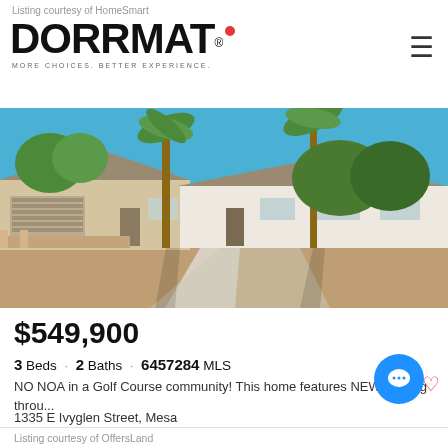Listing courtesy of HomeSmart
[Figure (logo): DORRMAT logo with red dot, registered trademark symbol, tagline MORE CHOICES. BETTER EXPERIENCE.]
[Figure (photo): Exterior photo of a single-story ranch home in Mesa, Arizona with desert landscaping, gravel yard, palm trees, and blue sky]
$549,900
3 Beds · 2 Baths · 6457284 MLS
NO NOA in a Golf Course community! This home features NEW flooring throu...
1335 E Ivyglen Street, Mesa
Listing courtesy of OffersLand